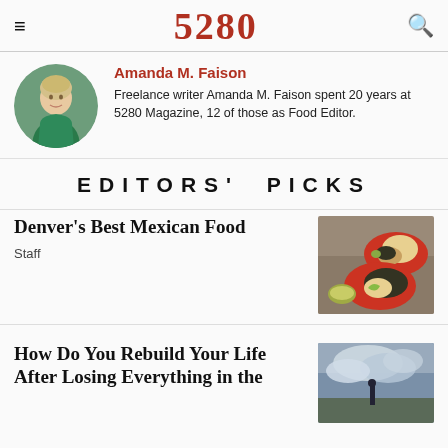5280
Amanda M. Faison
Freelance writer Amanda M. Faison spent 20 years at 5280 Magazine, 12 of those as Food Editor.
EDITORS' PICKS
Denver's Best Mexican Food
Staff
How Do You Rebuild Your Life After Losing Everything in the